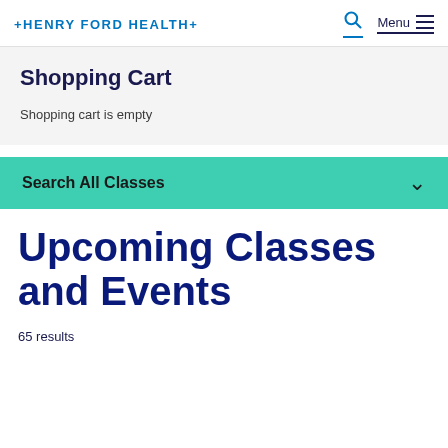HENRY FORD HEALTH+
Shopping Cart
Shopping cart is empty
Search All Classes
Upcoming Classes and Events
65 results